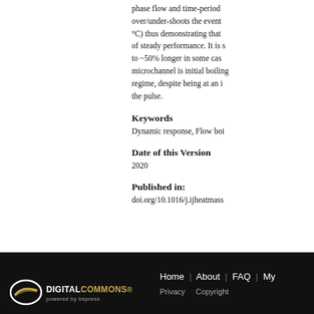phase flow and time-period over/under-shoots the event °C) thus demonstrating that of steady performance. It is s to ~50% longer in some case microchannel is initial boiling regime, despite being at an i the pulse.
Keywords
Dynamic response, Flow boi
Date of this Version
2020
Published in:
doi.org/10.1016/j.ijheatmass
Home | About | FAQ | My  Privacy  Copyright — DigitalCommons powered by bepress